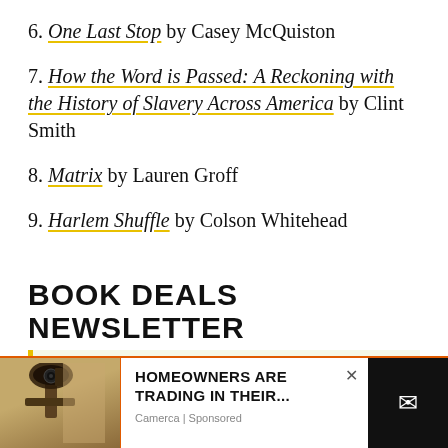6. One Last Stop by Casey McQuiston
7. How the Word is Passed: A Reckoning with the History of Slavery Across America by Clint Smith
8. Matrix by Lauren Groff
9. Harlem Shuffle by Colson Whitehead
BOOK DEALS NEWSLETTER
Sign up for our Book Deals newsletter and get up to 80% off books you actually want to read.
[Figure (infographic): Advertisement banner: outdoor security camera/lamp image on left, text 'HOMEOWNERS ARE TRADING IN THEIR...' with source 'Camerca | Sponsored', close button X, and dark email CTA button on right.]